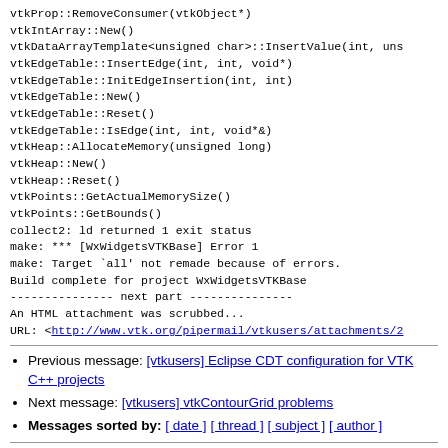vtkProp::RemoveConsumer(vtkObject*)
vtkIntArray::New()
vtkDataArrayTemplate<unsigned char>::InsertValue(int, uns
vtkEdgeTable::InsertEdge(int, int, void*)
vtkEdgeTable::InitEdgeInsertion(int, int)
vtkEdgeTable::New()
vtkEdgeTable::Reset()
vtkEdgeTable::IsEdge(int, int, void*&)
vtkHeap::AllocateMemory(unsigned long)
vtkHeap::New()
vtkHeap::Reset()
vtkPoints::GetActualMemorySize()
vtkPoints::GetBounds()
collect2: ld returned 1 exit status
make: *** [WxWidgetsVTKBase] Error 1
make: Target `all' not remade because of errors.
Build complete for project WxWidgetsVTKBase
--------------- next part ---------------
An HTML attachment was scrubbed...
URL: <http://www.vtk.org/pipermail/vtkusers/attachments/2
Previous message: [vtkusers] Eclipse CDT configuration for VTK C++ projects
Next message: [vtkusers] vtkContourGrid problems
Messages sorted by: [ date ] [ thread ] [ subject ] [ author ]
More information about the vtkusers mailing list